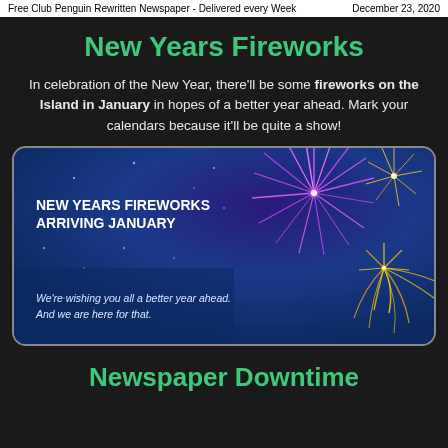Free Club Penguin Rewritten Newspaper - Delivered every Week | December 23, 2020
New Years Fireworks
In celebration of the New Year, there'll be some fireworks on the Island in January in hopes of a better year ahead. Mark your calendars because it'll be quite a show!
[Figure (illustration): Promotional banner image for New Years Fireworks event on Club Penguin Rewritten. Shows fireworks bursting in a night sky with text reading 'NEW YEARS FIREWORKS ARRIVING JANUARY' and 'We're wishing you all a better year ahead. And we are here for that.']
Newspaper Downtime